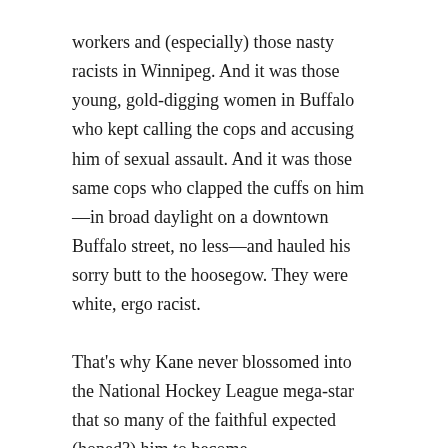workers and (especially) those nasty racists in Winnipeg. And it was those young, gold-digging women in Buffalo who kept calling the cops and accusing him of sexual assault. And it was those same cops who clapped the cuffs on him—in broad daylight on a downtown Buffalo street, no less—and hauled his sorry butt to the hoosegow. They were white, ergo racist.
That's why Kane never blossomed into the National Hockey League mega-star that so many of the faithful expected (hoped?) him to become.
Well just look at our old friend now.
Kane has landed in a city, San Jose, where (apparently)